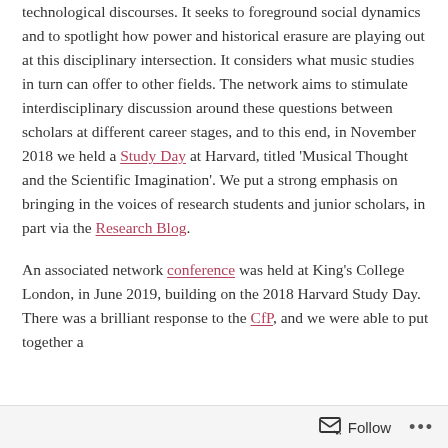technological discourses. It seeks to foreground social dynamics and to spotlight how power and historical erasure are playing out at this disciplinary intersection. It considers what music studies in turn can offer to other fields. The network aims to stimulate interdisciplinary discussion around these questions between scholars at different career stages, and to this end, in November 2018 we held a Study Day at Harvard, titled 'Musical Thought and the Scientific Imagination'. We put a strong emphasis on bringing in the voices of research students and junior scholars, in part via the Research Blog.
An associated network conference was held at King's College London, in June 2019, building on the 2018 Harvard Study Day. There was a brilliant response to the CfP, and we were able to put together a
Follow ...